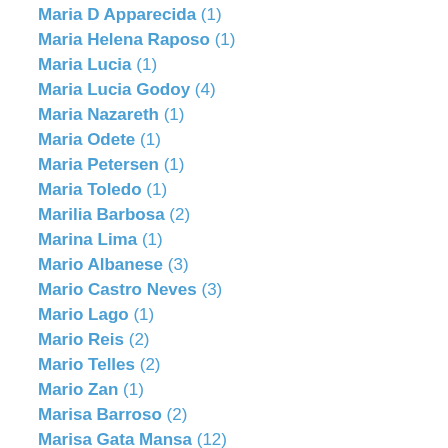Maria D Apparecida (1)
Maria Helena Raposo (1)
Maria Lucia (1)
Maria Lucia Godoy (4)
Maria Nazareth (1)
Maria Odete (1)
Maria Petersen (1)
Maria Toledo (1)
Marilia Barbosa (2)
Marina Lima (1)
Mario Albanese (3)
Mario Castro Neves (3)
Mario Lago (1)
Mario Reis (2)
Mario Telles (2)
Mario Zan (1)
Marisa Barroso (2)
Marisa Gata Mansa (12)
Marku Ribas (2)
Marlene (2)